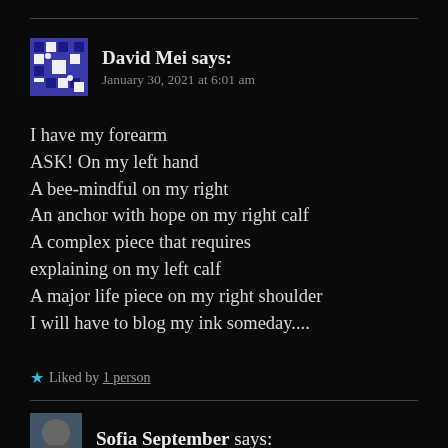David Mei says:
January 30, 2021 at 6:01 am
I have my forearm
ASK! On my left hand
A bee-mindful on my right
An anchor with hope on my right calf
A complex piece that requires explaining on my left calf
A major life piece on my right shoulder
I will have to blog my ink someday....
★ Liked by 1 person
Sofia September says: